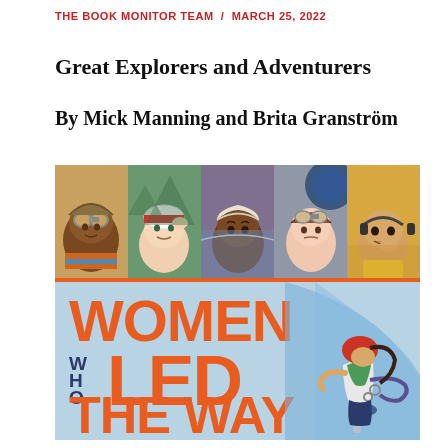THE BOOK MONITOR TEAM  /  MARCH 25, 2022
Great Explorers and Adventurers
By Mick Manning and Brita Granström
[Figure (illustration): Book cover for 'Women Who Led The Way' showing five illustrated portrait panels of diverse women explorers across the top (wearing aviator goggles, hats, and headbands), and large bold orange text reading 'WOMEN WHO LED THE WAY' against a light blue background, with an illustration of a girl rock climber on the right side.]